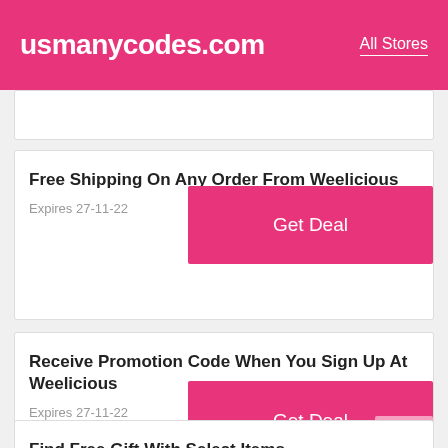usmanycodes.com  All Stores
Free Shipping On Any Order From Weelicious
Expires 27-11-22
Receive Promotion Code When You Sign Up At Weelicious
Expires 27-11-22
Find Free Gift With Select Items